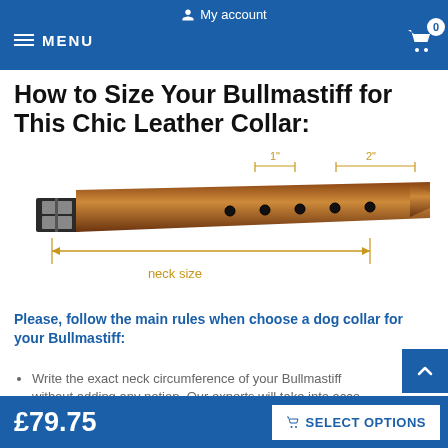My account  MENU  0
How to Size Your Bullmastiff for This Chic Leather Collar:
[Figure (illustration): Diagram of a leather dog collar showing neck size measurement with an arrow spanning the length of the collar, and 1" and 2" measurements marked above the hole spacing area.]
Please, follow the main rules when choose a dog collar for your Bullmastiff:
Write the exact neck circumference of your Bullmastiff without adding any notion. Our experts will take into account all the details for the chosen collar to adjust to Bullmastiff...
£79.75   SELECT OPTIONS